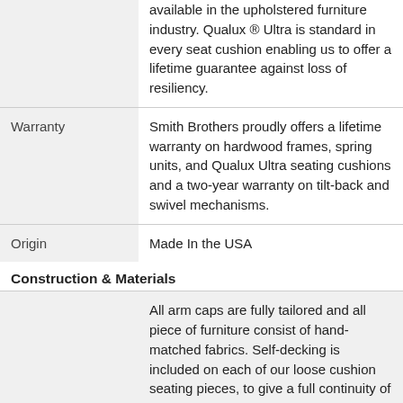|  | available in the upholstered furniture industry. Qualux ® Ultra is standard in every seat cushion enabling us to offer a lifetime guarantee against loss of resiliency. |
| Warranty | Smith Brothers proudly offers a lifetime warranty on hardwood frames, spring units, and Qualux Ultra seating cushions and a two-year warranty on tilt-back and swivel mechanisms. |
| Origin | Made In the USA |
Construction & Materials
|  | All arm caps are fully tailored and all piece of furniture consist of hand-matched fabrics. Self-decking is included on each of our loose cushion seating pieces, to give a full continuity of fabric pattern—even beneath the cushions. |